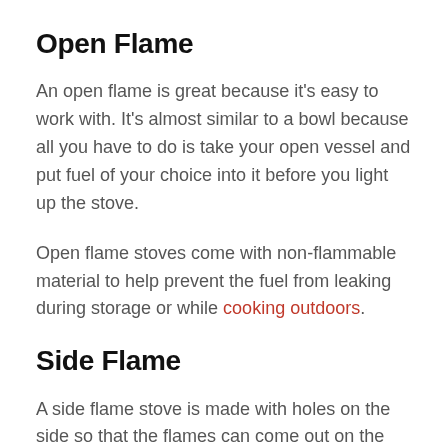Open Flame
An open flame is great because it's easy to work with. It's almost similar to a bowl because all you have to do is take your open vessel and put fuel of your choice into it before you light up the stove.
Open flame stoves come with non-flammable material to help prevent the fuel from leaking during storage or while cooking outdoors.
Side Flame
A side flame stove is made with holes on the side so that the flames can come out on the sides.
You don't have to get another stand for this type of stove. You can just put the pot right above the